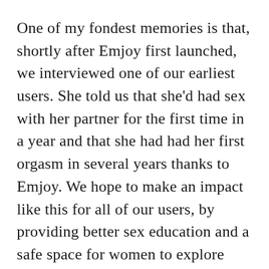One of my fondest memories is that, shortly after Emjoy first launched, we interviewed one of our earliest users. She told us that she'd had sex with her partner for the first time in a year and that she had had her first orgasm in several years thanks to Emjoy. We hope to make an impact like this for all of our users, by providing better sex education and a safe space for women to explore their bodies and their sexuality, allowing them to work out what they like and dislike, and to feel more confident in their skin.